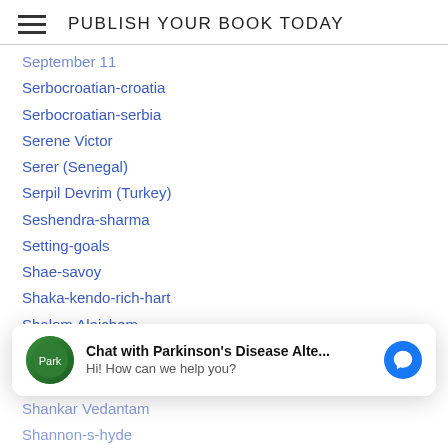PUBLISH YOUR BOOK TODAY
September 11
Serbocroatian-croatia
Serbocroatian-serbia
Serene Victor
Serer (Senegal)
Serpil Devrim (Turkey)
Seshendra-sharma
Setting-goals
Shae-savoy
Shaka-kendo-rich-hart
Shalom Aleichem
Shalom-hebrew
Shalom Peace
Shaman
Chat with Parkinson's Disease Alte...
Hi! How can we help you?
Shankar Vedantam
Shannon-s-hyde